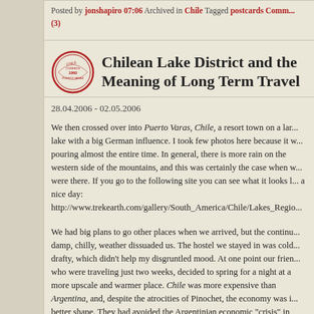Posted by jonshapiro 07:06 Archived in Chile Tagged postcards Comments (3)
Chilean Lake District and the Meaning of Long Term Travel
28.04.2006 - 02.05.2006
We then crossed over into Puerto Varas, Chile, a resort town on a large lake with a big German influence. I took few photos here because it was pouring almost the entire time. In general, there is more rain on the western side of the mountains, and this was certainly the case when we were there. If you go to the following site you can see what it looks like on a nice day: http://www.trekearth.com/gallery/South_America/Chile/Lakes_Region/
We had big plans to go other places when we arrived, but the continual damp, chilly, weather dissuaded us. The hostel we stayed in was cold and drafty, which didn't help my disgruntled mood. At one point our friends, who were traveling just two weeks, decided to spring for a night at a more upscale and warmer place. Chile was more expensive than Argentina, and, despite the atrocities of Pinochet, the economy was in better shape. They had avoided the Argentinian economic "crisis" in